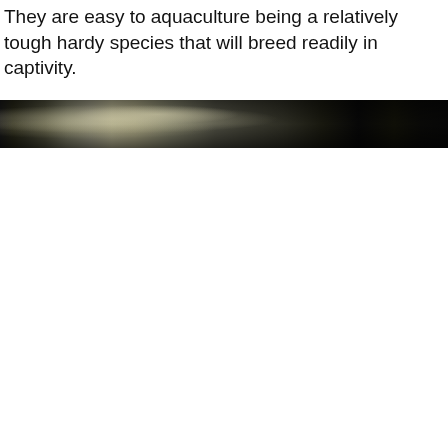They are easy to aquaculture being a relatively tough hardy species that will breed readily in captivity.
[Figure (photo): A dark photograph, mostly black, with a partial view of what appears to be an aquatic or outdoor scene with some light-colored granular texture visible on the left portion and dark background.]